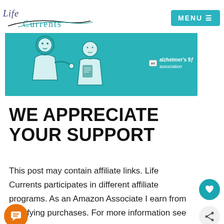Life Currents | MENU
[Figure (illustration): Advertising banner for Alzheimer's Association showing illustrated figures on a teal background with ad badge and Alzheimer's association logo]
WE APPRECIATE YOUR SUPPORT
This post may contain affiliate links. Life Currents participates in different affiliate programs. As an Amazon Associate I earn from qualifying purchases. For more information see here.